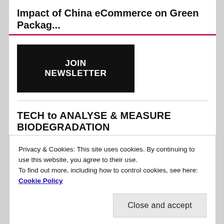Impact of China eCommerce on Green Packag...
JOIN NEWSLETTER
TECH to ANALYSE & MEASURE BIODEGRADATION
[Figure (logo): Green logo with large stylized text, partially visible]
Privacy & Cookies: This site uses cookies. By continuing to use this website, you agree to their use.
To find out more, including how to control cookies, see here: Cookie Policy
Close and accept
MICHAEL STEPHEN COLUMN
[Figure (photo): Partially visible photo at bottom of page]